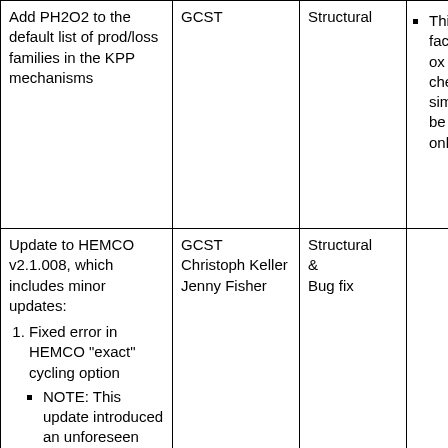| Description | Who | Type | Notes |
| --- | --- | --- | --- |
| Add PH2O2 to the default list of prod/loss families in the KPP mechanisms | GCST | Structural | This u facilit out ox from a chemi simul can be drive only s |
| Update to HEMCO v2.1.008, which includes minor updates:
1. Fixed error in HEMCO "exact" cycling option
  NOTE: This update introduced an unforeseen side-effect | GCST
Christoph Keller
Jenny Fisher | Structural
&
Bug fix |  |